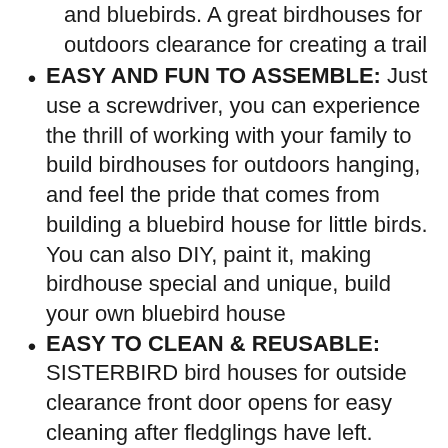and bluebirds. A great birdhouses for outdoors clearance for creating a trail
EASY AND FUN TO ASSEMBLE: Just use a screwdriver, you can experience the thrill of working with your family to build birdhouses for outdoors hanging, and feel the pride that comes from building a bluebird house for little birds. You can also DIY, paint it, making birdhouse special and unique, build your own bluebird house
EASY TO CLEAN & REUSABLE: SISTERBIRD bird houses for outside clearance front door opens for easy cleaning after fledglings have left. When the season is over, clean out the wooden birdhouse and save birdhouse kits for kids for next spring